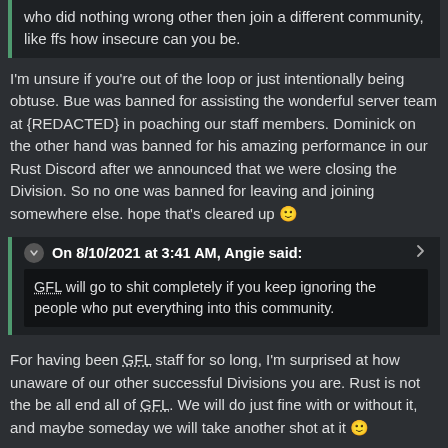who did nothing wrong other then join a different community, like ffs how insecure can you be.
I'm unsure if you're out of the loop or just intentionally being obtuse. Bue was banned for assisting the wonderful server team at {REDACTED} in poaching our staff members. Dominick on the other hand was banned for his amazing performance in our Rust Discord after we announced that we were closing the Division. So no one was banned for leaving and joining somewhere else. hope that's cleared up 🙂
On 8/10/2021 at 3:41 AM, Angie said:
GFL will go to shit completely if you keep ignoring the people who put everything into this community.
For having been GFL staff for so long, I'm surprised at how unaware of our other successful Divisions you are. Rust is not the be all end all of GFL. We will do just fine with or without it, and maybe someday we will take another shot at it 🙂